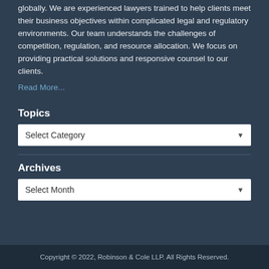globally. We are experienced lawyers trained to help clients meet their business objectives within complicated legal and regulatory environments. Our team understands the challenges of competition, regulation, and resource allocation. We focus on providing practical solutions and responsive counsel to our clients.
Read More...
Topics
Select Category
Archives
Select Month
Copyright © 2022, Robinson & Cole LLP. All Rights Reserved.